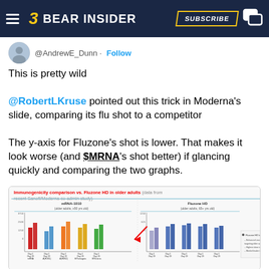BEAR INSIDER — SUBSCRIBE
@AndrewE_Dunn · Follow
This is pretty wild

@RobertLKruse pointed out this trick in Moderna's slide, comparing its flu shot to a competitor

The y-axis for Fluzone's shot is lower. That makes it look worse (and $MRNA's shot better) if glancing quickly and comparing the two graphs.
[Figure (bar-chart): Immunogenicity comparison vs. Fluzone HD in older adults (data from recent Sanofi/Moderna co-admin study). Two grouped bar chart panels side by side: mRNA-1010 (older adults ≥50 yrs old) on the left and Fluzone HD (older adults 65+ yrs old) on the right, with different y-axis scales. Red arrow points to the Fluzone HD section indicating the lower y-axis scale.]